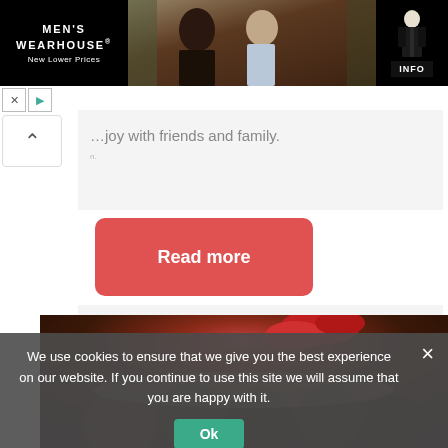[Figure (screenshot): Men's Wearhouse advertisement banner with logo on left, couple in formal wear in center, man in tuxedo on right with INFO button]
…joy with friends and family.
[Figure (other): Red Read more button]
[Figure (photo): Close-up photo of chocolate truffles on a plate with a red rose]
We use cookies to ensure that we give you the best experience on our website. If you continue to use this site we will assume that you are happy with it.
[Figure (other): Ok button for cookie consent]